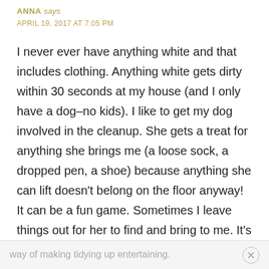ANNA says
APRIL 19, 2017 AT 7:05 PM
I never ever have anything white and that includes clothing. Anything white gets dirty within 30 seconds at my house (and I only have a dog–no kids). I like to get my dog involved in the cleanup. She gets a treat for anything she brings me (a loose sock, a dropped pen, a shoe) because anything she can lift doesn't belong on the floor anyway! It can be a fun game. Sometimes I leave things out for her to find and bring to me. It's just my
way of making tidying up entertaining.